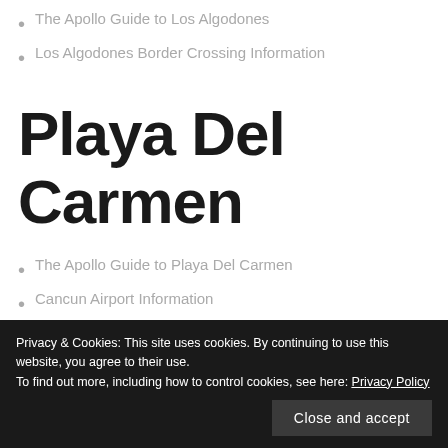The Apollo Guide to Los Algodones
Los Algodones Border Crossing Information
Playa Del Carmen
The Apollo Guide to Playa Del Carmen
Cancun Airport Information
Privacy & Cookies: This site uses cookies. By continuing to use this website, you agree to their use.
To find out more, including how to control cookies, see here: Privacy Policy
Close and accept